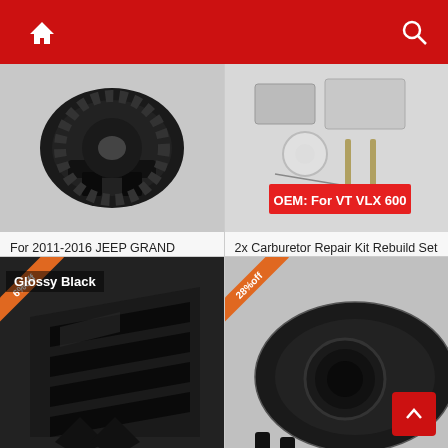Navigation bar with home and search icons
[Figure (photo): Black plastic heater air blend motor/actuator part for Jeep Grand Cherokee]
For 2011-2016 JEEP GRAND CHEROKEE Heater Air Blend
10.99 USD
16.62 USD
Free shipping
[Figure (photo): Carburetor repair kit rebuild set parts laid out with OEM: For VT VLX 600 badge]
2x Carburetor Repair Kit Rebuild Set for Honda Steed Shadow
21.84 USD
22.99 USD
Free shipping
[Figure (photo): Glossy Black car window louvers/vents for rear quarter window, labeled Glossy Black, 6% off ribbon]
[Figure (photo): Black fog light bezel/cover trim piece, 28% off ribbon]